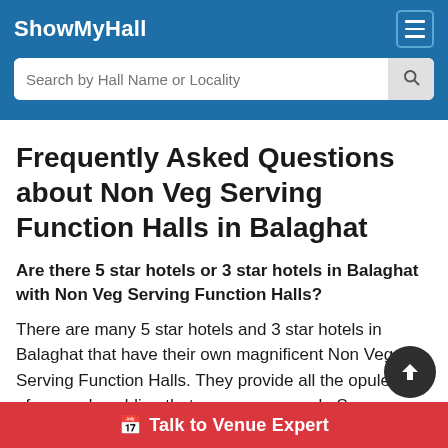ShowMyHall
Frequently Asked Questions about Non Veg Serving Function Halls in Balaghat
Are there 5 star hotels or 3 star hotels in Balaghat with Non Veg Serving Function Halls?
There are many 5 star hotels and 3 star hotels in Balaghat that have their own magnificent Non Veg Serving Function Halls. They provide all the opulence of a grand wedding that anyone can seek. So, go ahead and check out all Non Veg Serving Function Halls. After all, weddings are once in a lifetime affair and Non Veg Serving Function Halls in
Talk to Venue Expert